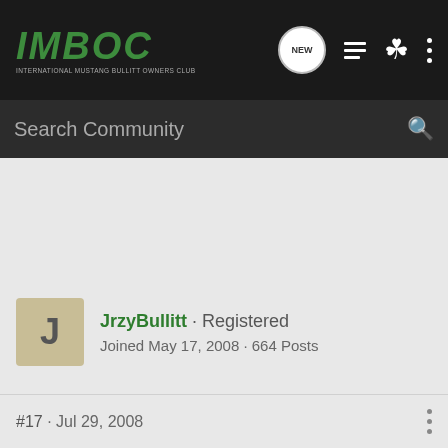[Figure (logo): IMBOC International Mustang Bullitt Owners Club logo in italic green text on dark background]
Search Community
JrzyBullitt · Registered
Joined May 17, 2008 · 664 Posts
#17 · Jul 29, 2008